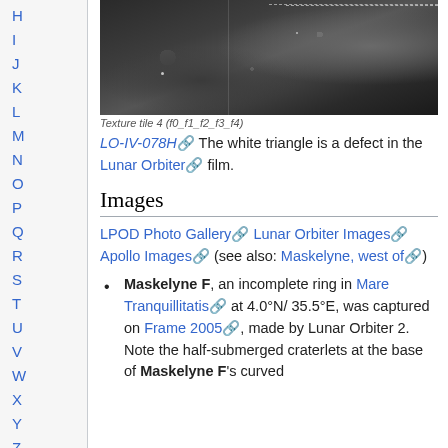H
I
J
K
L
M
N
O
P
Q
R
S
T
U
V
W
X
Y
Z
Site Map
Tools
What links here
[Figure (photo): Lunar Orbiter photograph LO-IV-078H showing lunar surface, grayscale. A white dashed line is visible near the top right (frame marker). The white triangle is a defect in the Lunar Orbiter film.]
LO-IV-078H The white triangle is a defect in the Lunar Orbiter film.
Images
LPOD Photo Gallery Lunar Orbiter Images Apollo Images (see also: Maskelyne, west of)
Maskelyne F, an incomplete ring in Mare Tranquillitatis at 4.0°N/35.5°E, was captured on Frame 2005, made by Lunar Orbiter 2. Note the half-submerged craterlets at the base of Maskelyne F's curved